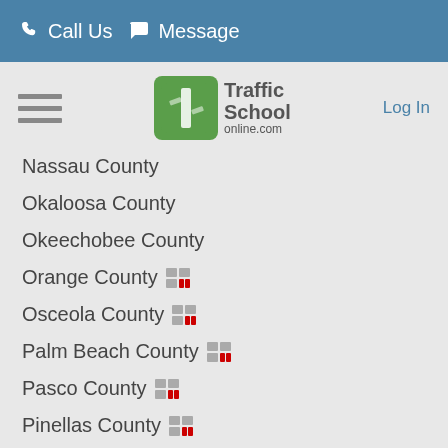📞 Call Us 💬 Message
[Figure (logo): Traffic School online.com logo with green box and road marking]
Nassau County
Okaloosa County
Okeechobee County
Orange County [icon]
Osceola County [icon]
Palm Beach County [icon]
Pasco County [icon]
Pinellas County [icon]
Polk County
Putnam County
Saint Johns County
Saint Lucie County